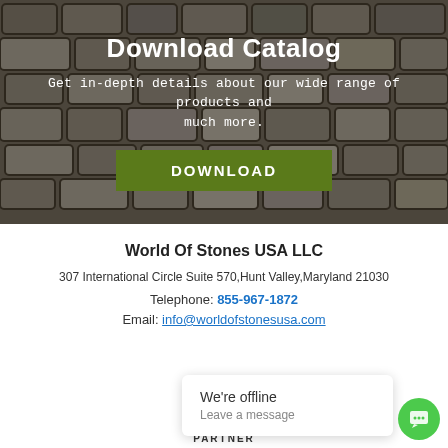[Figure (photo): Cobblestone/paving stone background with dark overlay, used as hero banner background]
Download Catalog
Get in-depth details about our wide range of products and much more.
DOWNLOAD
World Of Stones USA LLC
307 International Circle Suite 570,Hunt Valley,Maryland 21030
Telephone: 855-967-1872
Email: info@worldofstonesusa.com
We're offline
Leave a message
PARTNER